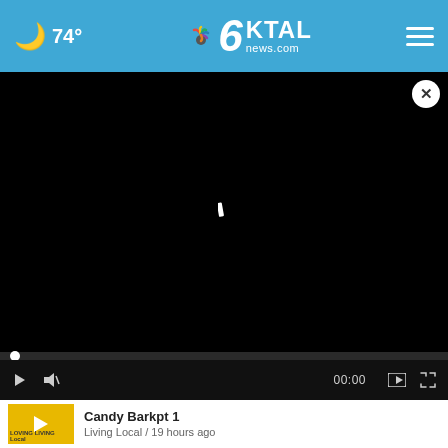🌙 74° | 6KTAL news.com
[Figure (screenshot): Black video player area with loading spinner and close button]
Chief Deputy sworn in as interim...
[Figure (screenshot): Thumbnail with play button overlay on yellow background showing Loving Living Local]
Candy Barkpt 1
Living Local / 19 hours ago